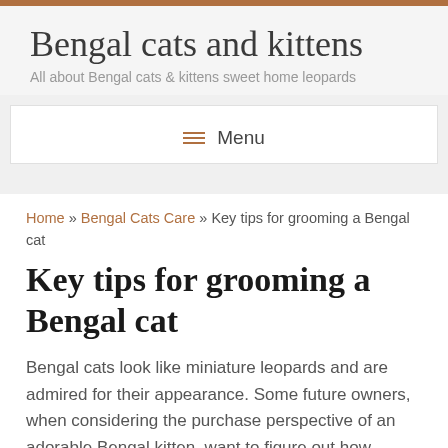Bengal cats and kittens
All about Bengal cats & kittens sweet home leopards
≡  Menu
Home » Bengal Cats Care » Key tips for grooming a Bengal cat
Key tips for grooming a Bengal cat
Bengal cats look like miniature leopards and are admired for their appearance. Some future owners, when considering the purchase perspective of an adorable Bengal kitten, want to figure out how difficult